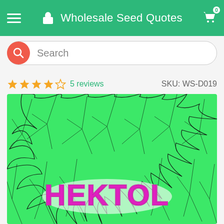Wholesale Seed Quotes
Search
★★★★☆ 5 reviews   SKU: WS-D019
[Figure (photo): Green and black illustrated cannabis leaf pattern with the text 'HEKTOL' in large magenta/pink block letters with a white glow, on a bright green background]